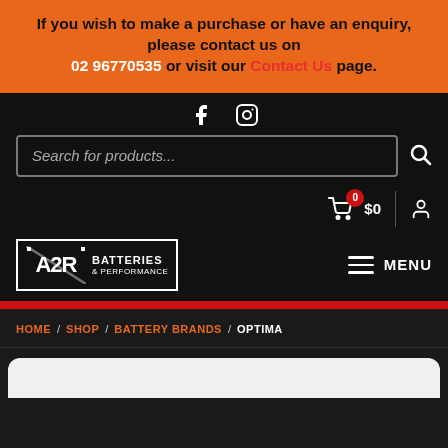If you wish to make a purchase or have an enquiry, please contact us on 02 96770535 or visit our Contact Us page.
[Figure (other): Facebook and Instagram social media icons in white on dark background]
[Figure (other): Search bar with placeholder text 'Search for products...' and search icon]
[Figure (other): Shopping cart icon with red badge showing 0, $0 price, divider, and account icon]
[Figure (logo): A2R Batteries & Performance logo with hamburger menu and MENU text]
HOME / SHOP / BATTERY BRANDS / OPTIMA